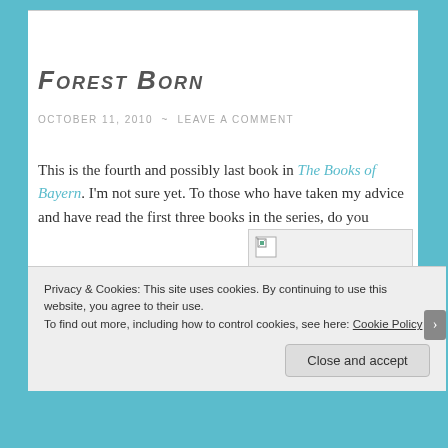Forest Born
OCTOBER 11, 2010  ~  LEAVE A COMMENT
This is the fourth and possibly last book in The Books of Bayern. I'm not sure yet. To those who have taken my advice and have read the first three books in the series, do you
[Figure (other): Broken image placeholder with small broken-image icon in top-left corner]
Privacy & Cookies: This site uses cookies. By continuing to use this website, you agree to their use.
To find out more, including how to control cookies, see here: Cookie Policy
Close and accept